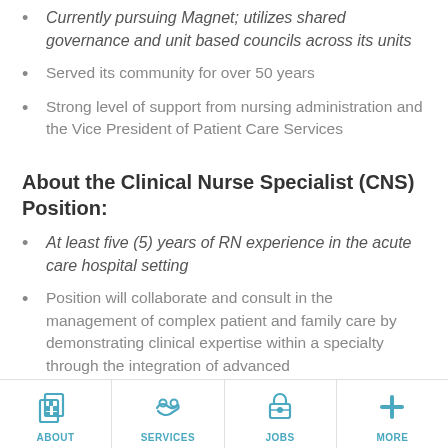Currently pursuing Magnet; utilizes shared governance and unit based councils across its units
Served its community for over 50 years
Strong level of support from nursing administration and the Vice President of Patient Care Services
About the Clinical Nurse Specialist (CNS) Position:
At least five (5) years of RN experience in the acute care hospital setting
Position will collaborate and consult in the management of complex patient and family care by demonstrating clinical expertise within a specialty through the integration of advanced
ABOUT | SERVICES | JOBS | MORE